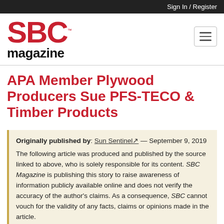Sign In / Register
[Figure (logo): SBC Magazine logo — red bold SBC letters with trademark symbol, black bold magazine text below]
APA Member Plywood Producers Sue PFS-TECO & Timber Products
Originally published by: Sun Sentinel — September 9, 2019
The following article was produced and published by the source linked to above, who is solely responsible for its content. SBC Magazine is publishing this story to raise awareness of information publicly available online and does not verify the accuracy of the author's claims. As a consequence, SBC cannot vouch for the validity of any facts, claims or opinions made in the article.